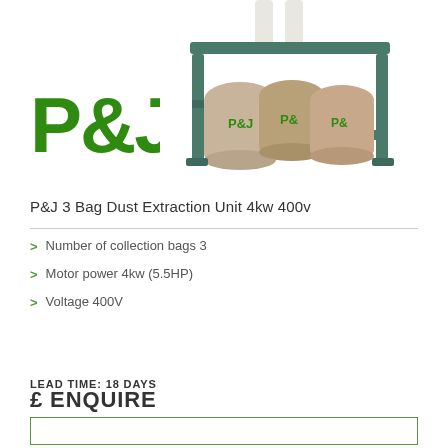[Figure (photo): P&J logo in green and a dust extraction unit on a metal stand with 3 collection bags underneath, with a person in white standing on the platform.]
P&J 3 Bag Dust Extraction Unit 4kw 400v
Number of collection bags 3
Motor power 4kw (5.5HP)
Voltage 400V
LEAD TIME: 18 DAYS
£ ENQUIRE